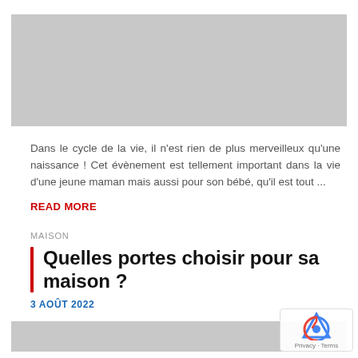[Figure (photo): Gray image placeholder at top of page]
Dans le cycle de la vie, il n'est rien de plus merveilleux qu'une naissance ! Cet évènement est tellement important dans la vie d'une jeune maman mais aussi pour son bébé, qu'il est tout ...
READ MORE
MAISON
Quelles portes choisir pour sa maison ?
3 AOÛT 2022
[Figure (photo): Gray image placeholder at bottom of page]